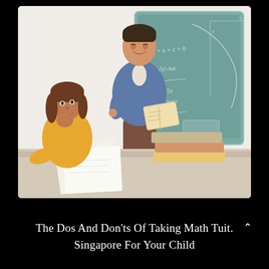[Figure (illustration): Flat-style illustration of a math tutor (male, blue sweater, brown pants) holding an open book and standing next to a teal chalkboard with mathematical equations. A student (female, yellow sweater, brown hair) sits at a desk looking up at the teacher. Papers and stacked books are on the desk. Background is off-white.]
The Dos And Don'ts Of Taking Math Tuition In Singapore For Your Child